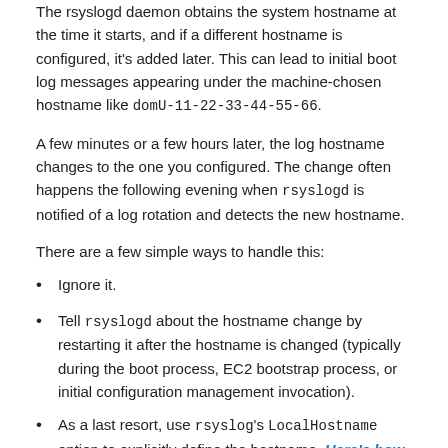The rsyslogd daemon obtains the system hostname at the time it starts, and if a different hostname is configured, it's added later. This can lead to initial boot log messages appearing under the machine-chosen hostname like domU-11-22-33-44-55-66.
A few minutes or a few hours later, the log hostname changes to the one you configured. The change often happens the following evening when rsyslogd is notified of a log rotation and detects the new hostname.
There are a few simple ways to handle this:
Ignore it.
Tell rsyslogd about the hostname change by restarting it after the hostname is changed (typically during the boot process, EC2 bootstrap process, or initial configuration management invocation).
As a last resort, use rsyslog's LocalHostname option to explicitly define the hostname. Here's how. This works best in environments where the rsyslog config file is already generated by a configuration management system like puppet or chef (which is aware of the hostname).